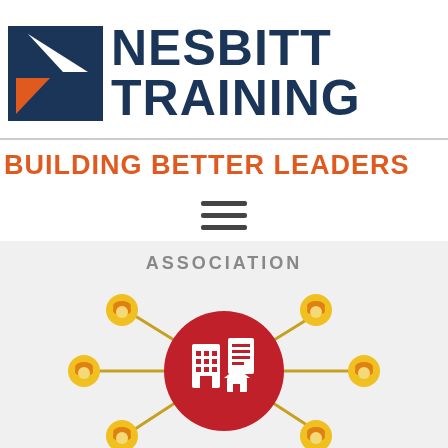[Figure (logo): Nesbitt Training logo with dark navy geometric arrow/chevron icon and bold navy text reading NESBITT TRAINING]
BUILDING BETTER LEADERS
[Figure (infographic): Hamburger menu icon with three horizontal lines]
ASSOCIATION
[Figure (illustration): Infographic showing a red circle with white building/document icons in the center, surrounded by yellow hard-hat worker icons connected by gold lines radiating outward, representing an association or network of construction workers and buildings]